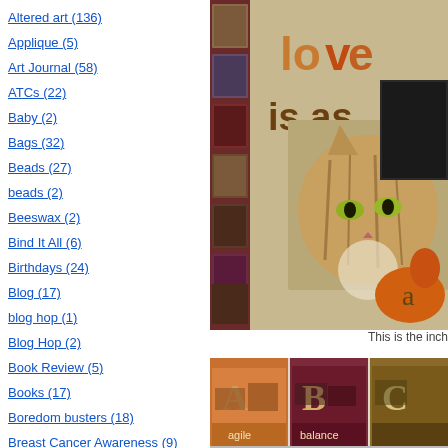Altered art (136)
Applique (5)
Art Journal (58)
ATCs (22)
Baby (2)
Bags (32)
Beads (27)
beads (2)
Beeswax (2)
Bind It All (6)
Birthdays (24)
Blog (17)
blog hop (1)
Blog Hop (2)
Book Review (5)
Books (17)
Boredom busters (18)
Breast Cancer Awareness (9)
[Figure (photo): Collage/scrapbook page featuring a cat with decorative alphabet tiles on the left side and text reading 'love is as' with decorative elements]
This is the inch
[Figure (photo): Three alphabet/ATC cards showing letters A, B, C with words 'agile', 'balance' beneath them]